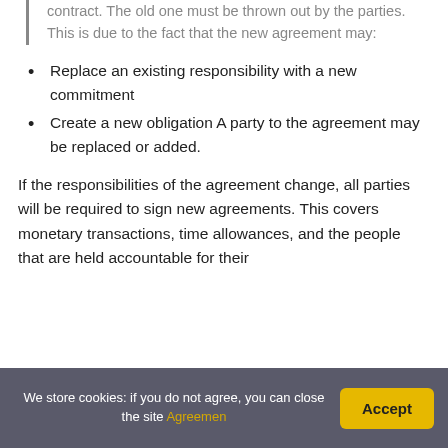contract. The old one must be thrown out by the parties. This is due to the fact that the new agreement may:
Replace an existing responsibility with a new commitment
Create a new obligation A party to the agreement may be replaced or added.
If the responsibilities of the agreement change, all parties will be required to sign new agreements. This covers monetary transactions, time allowances, and the people that are held accountable for their activities. When the agreement gets to have effect, its
We store cookies: if you do not agree, you can close the site Agreemen